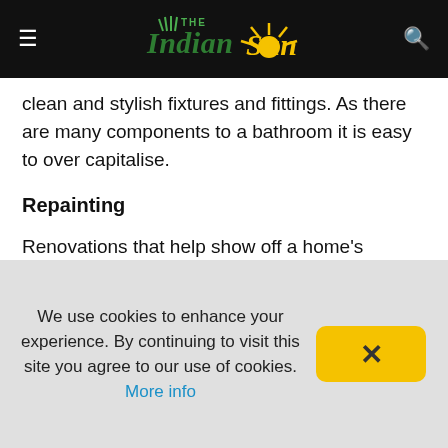The Indian Sun — navigation bar with logo
clean and stylish fixtures and fittings. As there are many components to a bathroom it is easy to over capitalise.
Repainting
Renovations that help show off a home's qualities rather than detract from it have the best chance of providing a good return. Painting is always a great option to give a home a lift, with modern colours and shades.
Paint is the most powerful renovation tool. You can instantly modernise and refresh a tired property with a coat of paint in a
We use cookies to enhance your experience. By continuing to visit this site you agree to our use of cookies. More info